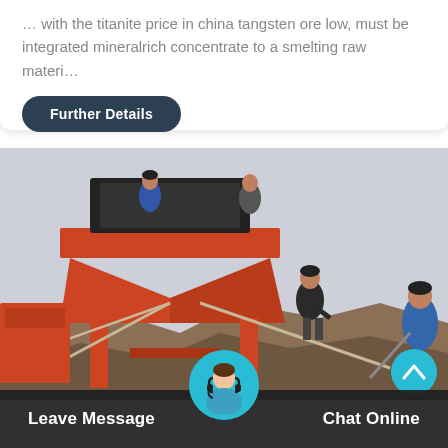… with the titanite price in china tangsten ore low, must be integrated mineralrich concentrate to a smelting raw materi…
Further Details
[Figure (photo): Industrial ore processing machinery (orange metal hopper/sorter) on a dirt mound with workers standing nearby, overcast sky background.]
Leave Message
Chat Online